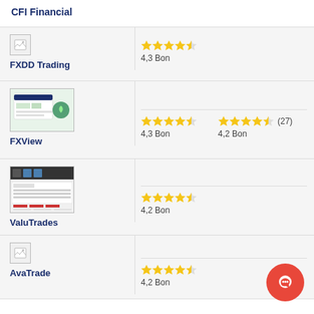CFI Financial
FXDD Trading
4,3 Bon
FXView
4,3 Bon
4,2 Bon (27)
ValuTrades
4,2 Bon
AvaTrade
4,2 Bon